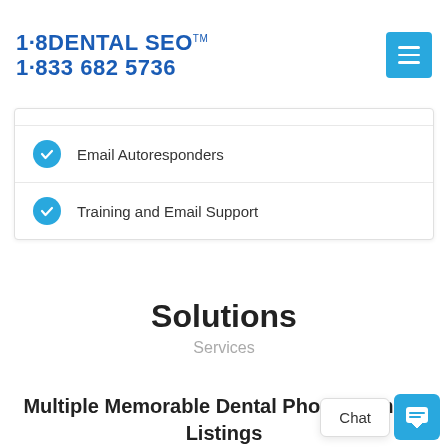1·8DENTAL SEO™  1·833 682 5736
Email Autoresponders
Training and Email Support
Solutions
Services
Multiple Memorable Dental Phone Number Listings